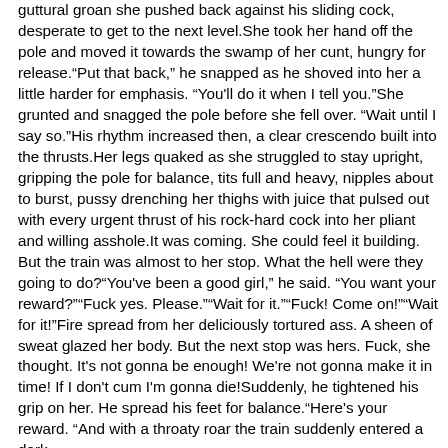guttural groan she pushed back against his sliding cock, desperate to get to the next level.She took her hand off the pole and moved it towards the swamp of her cunt, hungry for release."Put that back," he snapped as he shoved into her a little harder for emphasis. "You'll do it when I tell you."She grunted and snagged the pole before she fell over. "Wait until I say so."His rhythm increased then, a clear crescendo built into the thrusts.Her legs quaked as she struggled to stay upright, gripping the pole for balance, tits full and heavy, nipples about to burst, pussy drenching her thighs with juice that pulsed out with every urgent thrust of his rock-hard cock into her pliant and willing asshole.It was coming. She could feel it building. But the train was almost to her stop. What the hell were they going to do?"You've been a good girl," he said. "You want your reward?""Fuck yes. Please.""Wait for it.""Fuck! Come on!""Wait for it!"Fire spread from her deliciously tortured ass. A sheen of sweat glazed her body. But the next stop was hers. Fuck, she thought. It's not gonna be enough! We're not gonna make it in time! If I don't cum I'm gonna die!Suddenly, he tightened his grip on her. He spread his feet for balance."Here's your reward. "And with a throaty roar the train suddenly entered a dark